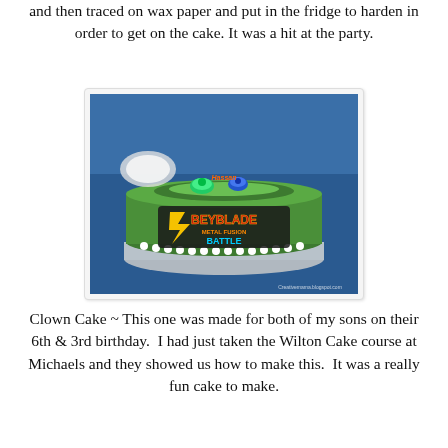and then traced on wax paper and put in the fridge to harden in order to get on the cake. It was a hit at the party.
[Figure (photo): A green Beyblade-themed birthday cake decorated with the Beyblade Metal Fusion logo, sitting on a foil board, with beyblade spinners on top, displayed at a party table.]
Clown Cake ~ This one was made for both of my sons on their 6th & 3rd birthday. I had just taken the Wilton Cake course at Michaels and they showed us how to make this. It was a really fun cake to make.